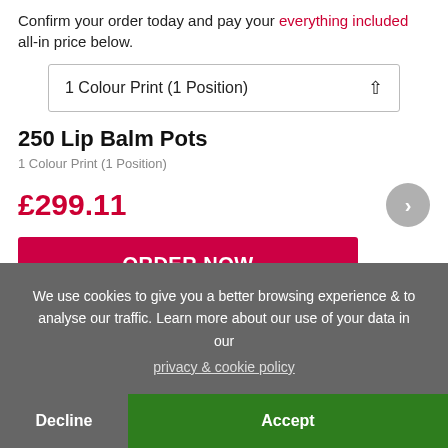Confirm your order today and pay your everything included all-in price below.
1 Colour Print (1 Position)
250 Lip Balm Pots
1 Colour Print (1 Position)
£299.11
ORDER NOW with your logo
We use cookies to give you a better browsing experience & to analyse our traffic. Learn more about our use of your data in our privacy & cookie policy
Decline
Accept